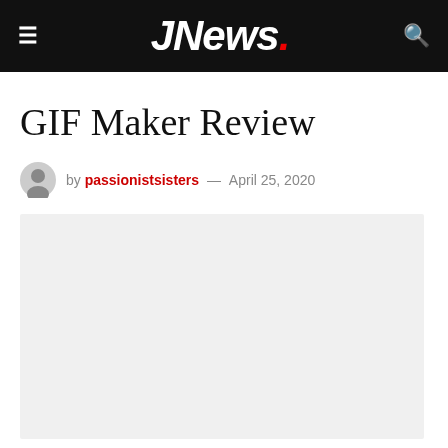JNews.
GIF Maker Review
by passionistsisters — April 25, 2020
[Figure (photo): Featured article image placeholder (light gray rectangle)]